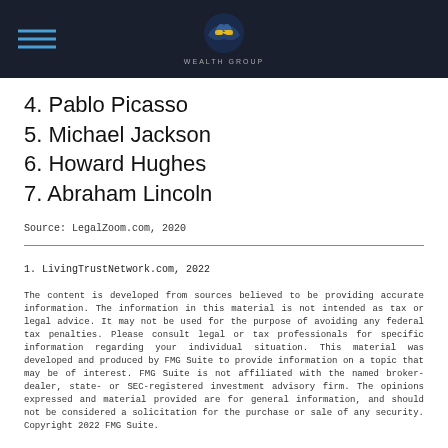2:24 Wealth Group
4. Pablo Picasso
5. Michael Jackson
6. Howard Hughes
7. Abraham Lincoln
Source: LegalZoom.com, 2020
1. LivingTrustNetwork.com, 2022
The content is developed from sources believed to be providing accurate information. The information in this material is not intended as tax or legal advice. It may not be used for the purpose of avoiding any federal tax penalties. Please consult legal or tax professionals for specific information regarding your individual situation. This material was developed and produced by FMG Suite to provide information on a topic that may be of interest. FMG Suite is not affiliated with the named broker-dealer, state- or SEC-registered investment advisory firm. The opinions expressed and material provided are for general information, and should not be considered a solicitation for the purchase or sale of any security. Copyright 2022 FMG Suite.